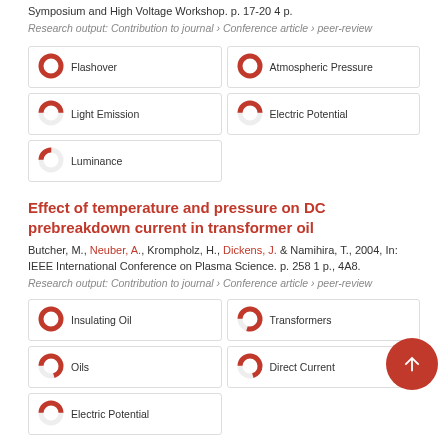Symposium and High Voltage Workshop. p. 17-20 4 p.
Research output: Contribution to journal › Conference article › peer-review
Flashover
Atmospheric Pressure
Light Emission
Electric Potential
Luminance
Effect of temperature and pressure on DC prebreakdown current in transformer oil
Butcher, M., Neuber, A., Krompholz, H., Dickens, J. & Namihira, T., 2004, In: IEEE International Conference on Plasma Science. p. 258 1 p., 4A8.
Research output: Contribution to journal › Conference article › peer-review
Insulating Oil
Transformers
Oils
Direct Current
Electric Potential